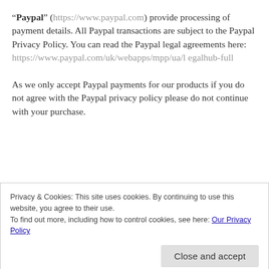"Paypal" (https://www.paypal.com) provide processing of payment details. All Paypal transactions are subject to the Paypal Privacy Policy. You can read the Paypal legal agreements here: https://www.paypal.com/uk/webapps/mpp/ua/legalhub-full
As we only accept Paypal payments for our products if you do not agree with the Paypal privacy policy please do not continue with your purchase.
Privacy & Cookies: This site uses cookies. By continuing to use this website, you agree to their use.
To find out more, including how to control cookies, see here: Our Privacy Policy
You can request the following information: